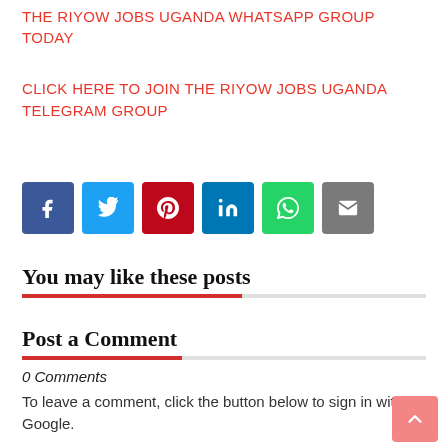THE RIYOW JOBS UGANDA WHATSAPP GROUP TODAY
CLICK HERE TO JOIN THE RIYOW JOBS UGANDA TELEGRAM GROUP
[Figure (infographic): Row of social media share buttons: Facebook (blue), Twitter (light blue), Pinterest (red), LinkedIn (dark blue), WhatsApp (green), Email (gray)]
You may like these posts
Post a Comment
0 Comments
To leave a comment, click the button below to sign in with Google.